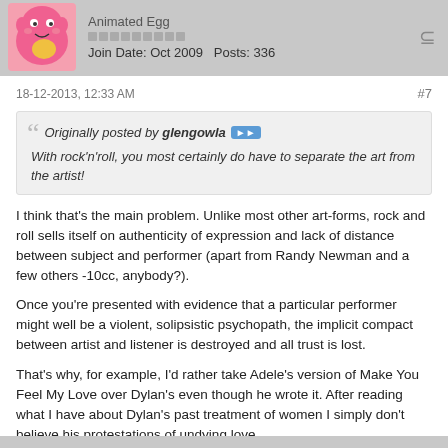[Figure (illustration): Pink cartoon character avatar]
Animated Egg
Join Date: Oct 2009  Posts: 336
18-12-2013, 12:33 AM
#7
Originally posted by glengowla
With rock'n'roll, you most certainly do have to separate the art from the artist!
I think that's the main problem. Unlike most other art-forms, rock and roll sells itself on authenticity of expression and lack of distance between subject and performer (apart from Randy Newman and a few others -10cc, anybody?).
Once you're presented with evidence that a particular performer might well be a violent, solipsistic psychopath, the implicit compact between artist and listener is destroyed and all trust is lost.
That's why, for example, I'd rather take Adele's version of Make You Feel My Love over Dylan's even though he wrote it. After reading what I have about Dylan's past treatment of women I simply don't believe his protestations of undying love.
And it's why, like jakartajive I'm now going to always have problems accepting the emotional integrity of Martyn's output.